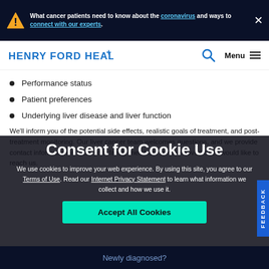What cancer patients need to know about the coronavirus and ways to connect with our experts.
[Figure (logo): Henry Ford Health logo with blue cross symbol]
Performance status
Patient preferences
Underlying liver disease and liver function
We'll inform you of the potential side effects, realistic goals of treatment, and post-treatment monitoring. Our liver cancer team welcomes questions, and we provide contact information in case your family members or other loved ones would like to reach us.
Consent for Cookie Use
We use cookies to improve your web experience. By using this site, you agree to our Terms of Use. Read our Internet Privacy Statement to learn what information we collect and how we use it.
Accept All Cookies
Newly diagnosed?